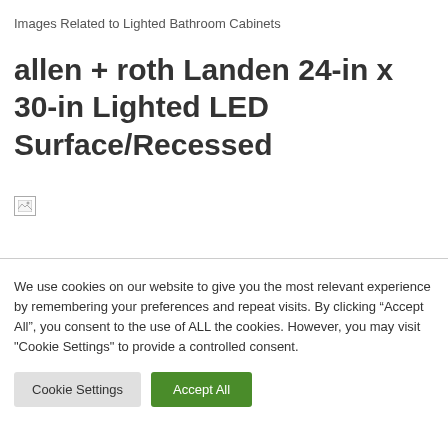Images Related to Lighted Bathroom Cabinets
allen + roth Landen 24-in x 30-in Lighted LED Surface/Recessed
[Figure (photo): Broken/unloaded image placeholder for product photo]
We use cookies on our website to give you the most relevant experience by remembering your preferences and repeat visits. By clicking “Accept All”, you consent to the use of ALL the cookies. However, you may visit "Cookie Settings" to provide a controlled consent.